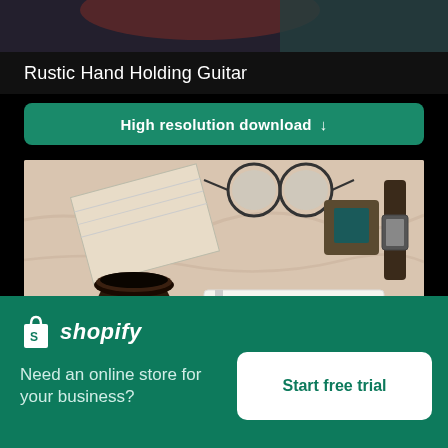[Figure (photo): Top portion of a person holding a guitar, cropped — dark background with red and teal tones]
Rustic Hand Holding Guitar
High resolution download ↓
[Figure (photo): Flat lay with glasses, notebook showing 'Coffee', books, coffee cup, watch, and fabric on a bed]
×
[Figure (logo): Shopify logo — shopping bag icon plus italic wordmark 'shopify' in white]
Need an online store for your business?
Start free trial